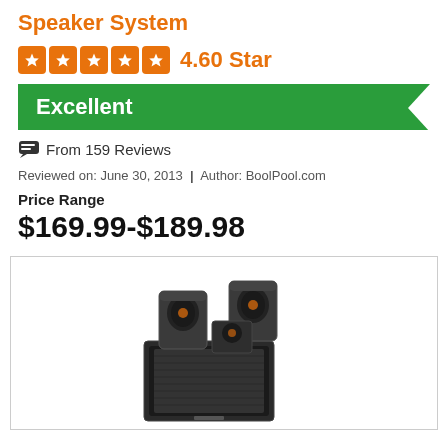Speaker System
4.60 Star
Excellent
From 159 Reviews
Reviewed on: June 30, 2013 | Author: BoolPool.com
Price Range
$169.99-$189.98
[Figure (photo): Photo of a home theater speaker system with satellite speakers and subwoofer, black finish]